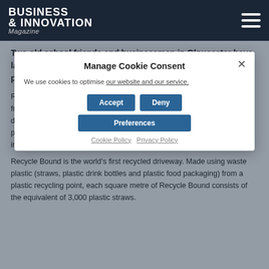Business & Innovation Magazine
Manage Cookie Consent
We use cookies to optimise our website and our service.
Two old school friends and businessmen in Gloucester have launched a new business laying driveways using recycled products.
Rich Fletcher and Brian Wright will be laying driveways through the Oltco, franchise, a leading sustainable resin driveway company. Oltco will be delivering premium resin driveway solutions, including its innovative product, Recycle Bound, across Gloucester and the surrounding areas including Stroud, Stonehouse and Dursley.
Recycle Bound is the world's first recycled driveway. Made using waste plastic (straws, plastic drink bottles and plastic food packaging) from a plastic recycling point, each square metre of Recycle Bound consists of the equivalent of 3,000 plastic straws.